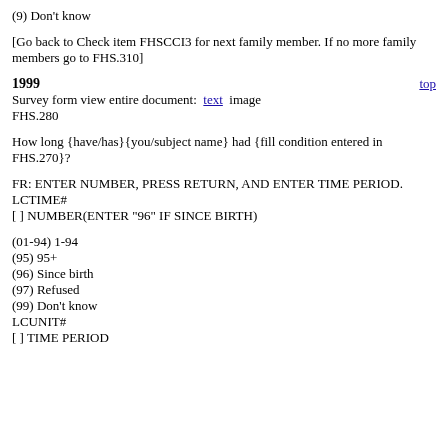(9) Don't know
[Go back to Check item FHSCCI3 for next family member. If no more family members go to FHS.310]
1999
Survey form view entire document:  text  image
FHS.280
How long {have/has}{you/subject name} had {fill condition entered in FHS.270}?
FR: ENTER NUMBER, PRESS RETURN, AND ENTER TIME PERIOD.
LCTIME#
[ ] NUMBER(ENTER "96" IF SINCE BIRTH)
(01-94) 1-94
(95) 95+
(96) Since birth
(97) Refused
(99) Don't know
LCUNIT#
[ ] TIME PERIOD